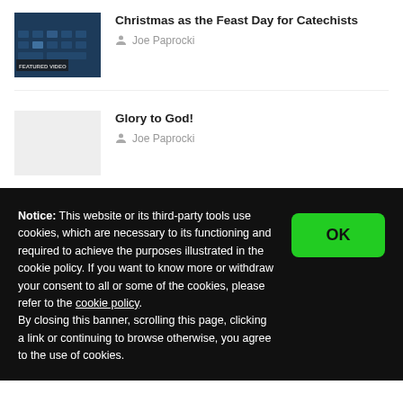[Figure (photo): Featured video thumbnail with dark blue tones showing lit keyboard/technology imagery with 'FEATURED VIDEO' label]
Christmas as the Feast Day for Catechists
Joe Paprocki
[Figure (photo): Plain light gray placeholder thumbnail image]
Glory to God!
Joe Paprocki
Notice: This website or its third-party tools use cookies, which are necessary to its functioning and required to achieve the purposes illustrated in the cookie policy. If you want to know more or withdraw your consent to all or some of the cookies, please refer to the cookie policy. By closing this banner, scrolling this page, clicking a link or continuing to browse otherwise, you agree to the use of cookies.